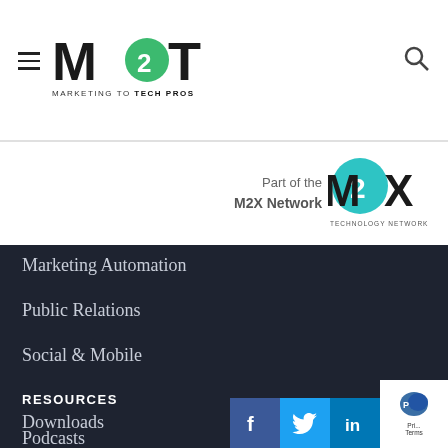[Figure (logo): M2T Marketing to Tech Pros logo with hamburger menu and search icon]
[Figure (logo): Part of the M2X Network Technology Network logo]
Marketing Automation
Public Relations
Social & Mobile
Website
RESOURCES
Downloads
Podcasts
[Figure (logo): Facebook, Twitter, LinkedIn social media icons and privacy badge]